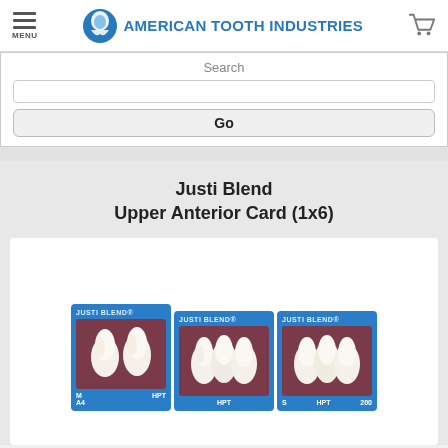[Figure (logo): American Tooth Industries logo with blue globe/tooth icon and blue text]
Search
Go
Justi Blend
Upper Anterior Card (1x6)
[Figure (photo): Three Justi Blend dental tooth card packages in blue packaging, each showing upper anterior teeth (HPT). Left card labeled M, A4, HPT. Center card labeled HPT. Right card labeled S, HPT, 200.]